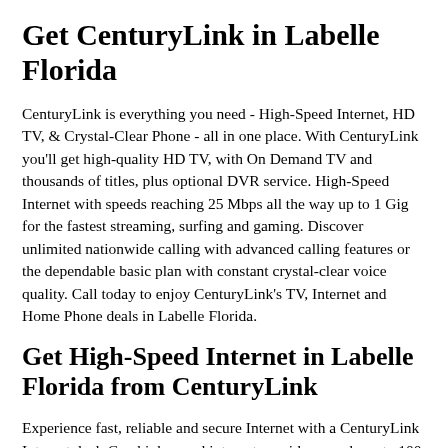Get CenturyLink in Labelle Florida
CenturyLink is everything you need - High-Speed Internet, HD TV, & Crystal-Clear Phone - all in one place. With CenturyLink you'll get high-quality HD TV, with On Demand TV and thousands of titles, plus optional DVR service. High-Speed Internet with speeds reaching 25 Mbps all the way up to 1 Gig for the fastest streaming, surfing and gaming. Discover unlimited nationwide calling with advanced calling features or the dependable basic plan with constant crystal-clear voice quality. Call today to enjoy CenturyLink's TV, Internet and Home Phone deals in Labelle Florida.
Get High-Speed Internet in Labelle Florida from CenturyLink
Experience fast, reliable and secure Internet with a CenturyLink Internet deal. Cox high-speed internet provides speeds up to 100 Mbps, more than enough to upload and download large files, or stream and surf all you want. With speeds up to 100 Mbps, you can